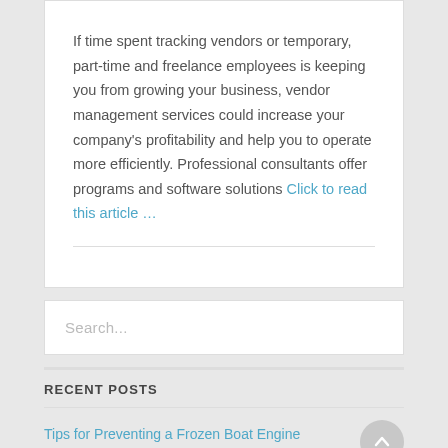If time spent tracking vendors or temporary, part-time and freelance employees is keeping you from growing your business, vendor management services could increase your company's profitability and help you to operate more efficiently. Professional consultants offer programs and software solutions Click to read this article …
Search...
RECENT POSTS
Tips for Preventing a Frozen Boat Engine
What You Need to Know About Dog Bite Insurance